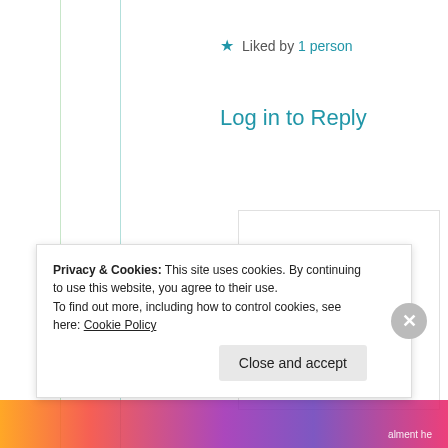★ Liked by 1 person
Log in to Reply
Jonathan Caswell
11th Jun 2021 at 11:20 am
Privacy & Cookies: This site uses cookies. By continuing to use this website, you agree to their use.
To find out more, including how to control cookies, see here: Cookie Policy
Close and accept